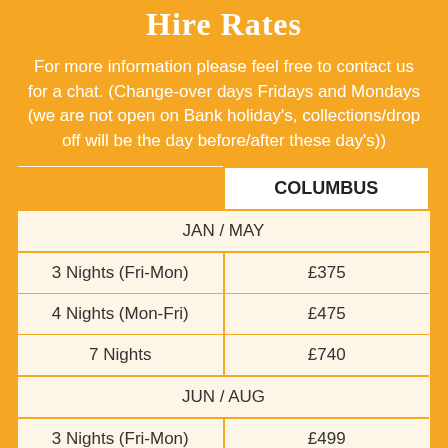Hire Rates
For more information please feel free to contact us for a chat. (Change-over days Fridays and Mondays (we are not open on Bank holiday's, collections/drop off will be the day before/after these day's))
|  | COLUMBUS |
| --- | --- |
| JAN / MAY |  |
| 3 Nights (Fri-Mon) | £375 |
| 4 Nights (Mon-Fri) | £475 |
| 7 Nights | £740 |
| JUN / AUG |  |
| 3 Nights (Fri-Mon) | £499 |